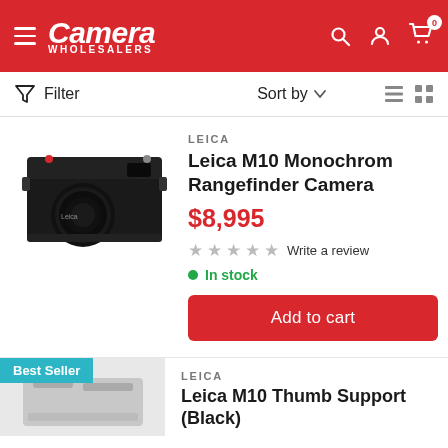Camera Wholesalers
Filter  Sort by
[Figure (photo): Leica M10 Monochrom Rangefinder Camera product photo - black rangefinder camera]
LEICA
Leica M10 Monochrom Rangefinder Camera
$8,995
Write a review
In stock
Add to cart
[Figure (photo): Leica M10 Thumb Support (Black) partial product image with Best Seller badge]
LEICA
Leica M10 Thumb Support (Black)